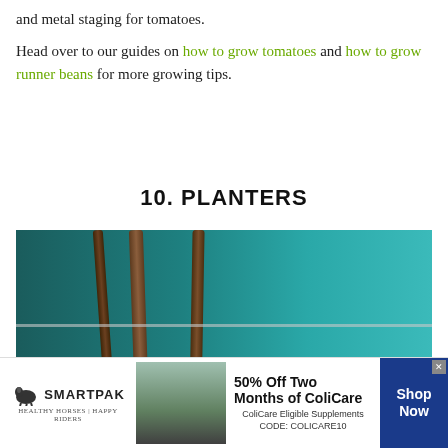and metal staging for tomatoes.
Head over to our guides on how to grow tomatoes and how to grow runner beans for more growing tips.
10. PLANTERS
[Figure (photo): Close-up photo of wooden stakes/poles with wire supports in a garden, with tomato plants and teal/blue blurred background]
[Figure (infographic): Advertisement banner for SmartPak: 50% Off Two Months of ColiCare. ColiCare Eligible Supplements. CODE: COLICARE10. Shop Now button.]